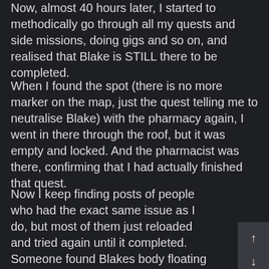Now, almost 40 hours later, I started to methodically go through all my quests and side missions, doing gigs and so on, and realised that Blake is STILL there to be completed.
When I found the spot (there is no more marker on the map, just the quest telling me to neutralise Blake) with the pharmacy again, I went in there through the roof, but it was empty and locked. And the pharmacist was there, confirming that I had actually finished that quest.
Now I keep finding posts of people who had the exact same issue as I do, but most of them just reloaded and tried again until it completed. Someone found Blakes body floating on the street and shot it there to complete the quest.